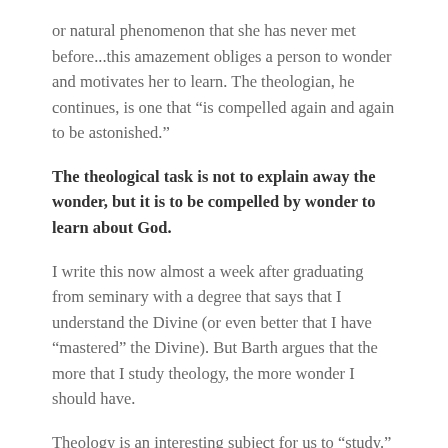or natural phenomenon that she has never met before...this amazement obliges a person to wonder and motivates her to learn. The theologian, he continues, is one that “is compelled again and again to be astonished.”
The theological task is not to explain away the wonder, but it is to be compelled by wonder to learn about God.
I write this now almost a week after graduating from seminary with a degree that says that I understand the Divine (or even better that I have “mastered” the Divine). But Barth argues that the more that I study theology, the more wonder I should have.
Theology is an interesting subject for us to “study.” Theology isn’t like other subjects where we can study and study with the ultimate intention of understanding it all. Instead, theology (because of its nature of